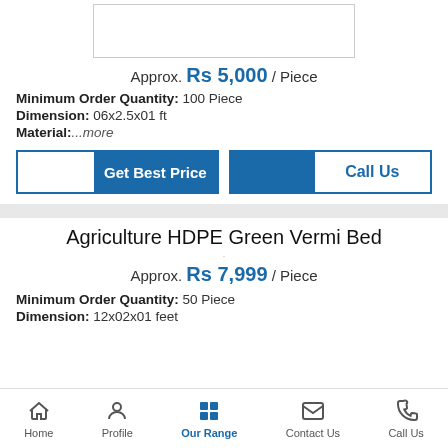[Figure (other): Product image placeholder (partially visible at top)]
Approx. Rs 5,000 / Piece
Minimum Order Quantity: 100 Piece
Dimension: 06x2.5x01 ft
Material: ...more
[Figure (other): Get Best Price and Call Us buttons]
Agriculture HDPE Green Vermi Bed
Approx. Rs 7,999 / Piece
Minimum Order Quantity: 50 Piece
Dimension: 12x02x01 feet
Home | Profile | Our Range | Contact Us | Call Us